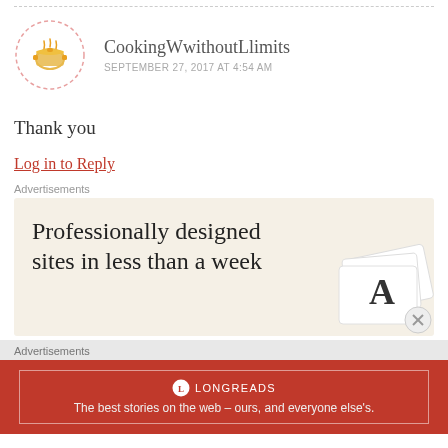[Figure (illustration): Avatar circle with dashed pink border containing a small cooking pot logo]
CookingWwithoutLlimits
SEPTEMBER 27, 2017 AT 4:54 AM
Thank you
Log in to Reply
Advertisements
[Figure (screenshot): Advertisement banner with beige background reading 'Professionally designed sites in less than a week' with card/typography graphics on the right]
Advertisements
[Figure (screenshot): Longreads advertisement with red background, logo and tagline: The best stories on the web – ours, and everyone else's.]